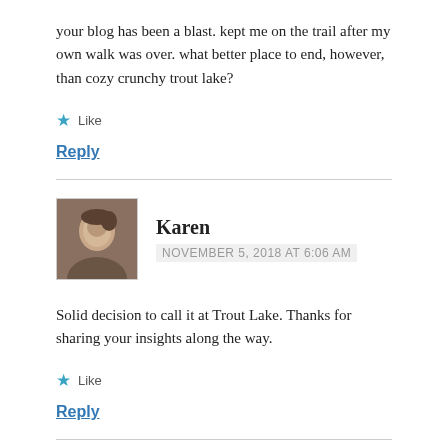your blog has been a blast. kept me on the trail after my own walk was over. what better place to end, however, than cozy crunchy trout lake?
★ Like
Reply
Karen
NOVEMBER 5, 2018 AT 6:06 AM
Solid decision to call it at Trout Lake. Thanks for sharing your insights along the way.
★ Like
Reply